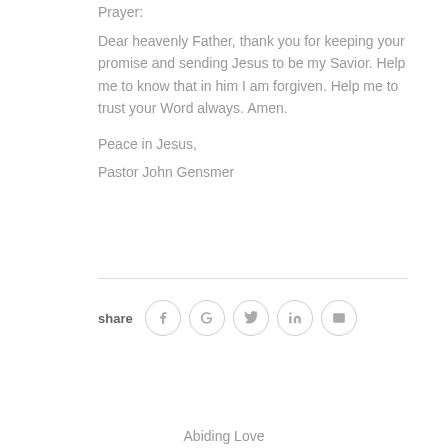Prayer:
Dear heavenly Father, thank you for keeping your promise and sending Jesus to be my Savior. Help me to know that in him I am forgiven. Help me to trust your Word always. Amen.
Peace in Jesus,
Pastor John Gensmer
[Figure (infographic): Share icons row: bold 'share' label followed by five circular icon buttons for Facebook, Google, Twitter, LinkedIn, and Email]
Abiding Love